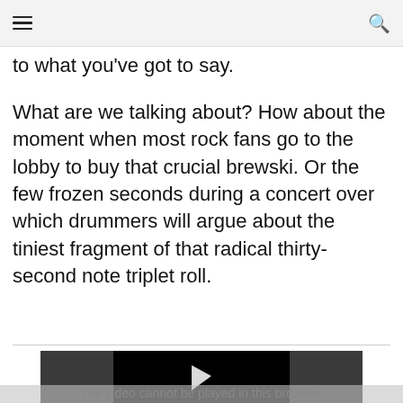≡  🔍
to what you've got to say.
What are we talking about? How about the moment when most rock fans go to the lobby to buy that crucial brewski. Or the few frozen seconds during a concert over which drummers will argue about the tiniest fragment of that radical thirty-second note triplet roll.
[Figure (screenshot): Embedded video player with dark background, black play area with a play button arrow, and a gray overlay bar at the bottom reading 'The video cannot be played in this browser.']